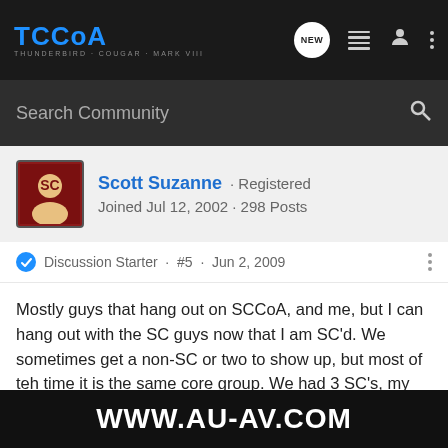TCCoA - THUNDERBIRD · COUGAR · MARK VIII
Search Community
Scott Suzanne · Registered
Joined Jul 12, 2002 · 298 Posts
Discussion Starter · #5 · Jun 2, 2009
Mostly guys that hang out on SCCoA, and me, but I can hang out with the SC guys now that I am SC'd. We sometimes get a non-SC or two to show up, but most of teh time it is the same core group. We had 3 SC's, my Cougar, Mike Puckett's caddy (he had some issues with the SC at the track) and an RX7. We are planning on meeting up at Atlanta Drag way for the Night of Fire last weekend of june. Mike Pukett will be running his racecar as it is a regular Summit Racing Series race night, but he s... nose that wis...
[Figure (other): Watermark overlay showing WWW.AU-AV.COM in white bold text on black starfield background]